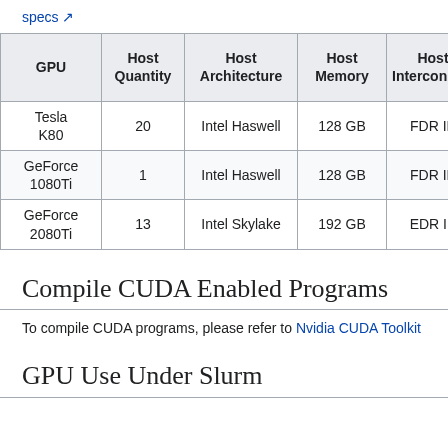specs
| GPU | Host Quantity | Host Architecture | Host Memory | Host Interconnect | CPU pe Ho |
| --- | --- | --- | --- | --- | --- |
| Tesla K80 | 20 | Intel Haswell | 128 GB | FDR IB | 28 |
| GeForce 1080Ti | 1 | Intel Haswell | 128 GB | FDR IB | 28 |
| GeForce 2080Ti | 13 | Intel Skylake | 192 GB | EDR IB | 32 |
Compile CUDA Enabled Programs
To compile CUDA programs, please refer to Nvidia CUDA Toolkit
GPU Use Under Slurm